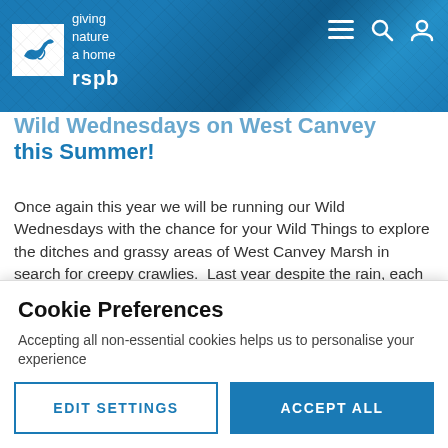rspb — giving nature a home
Wild Wednesdays on West Canvey Marsh this Summer!
Once again this year we will be running our Wild Wednesdays with the chance for your Wild Things to explore the ditches and grassy areas of West Canvey Marsh in search for creepy crawlies.  Last year despite the rain, each Wednesday we ran the event turned up something new including water scorpion,  dragonfly nymph and a smooth newt as well great views of wasp spiders along the ditch
Cookie Preferences
Accepting all non-essential cookies helps us to personalise your experience
EDIT SETTINGS  ACCEPT ALL